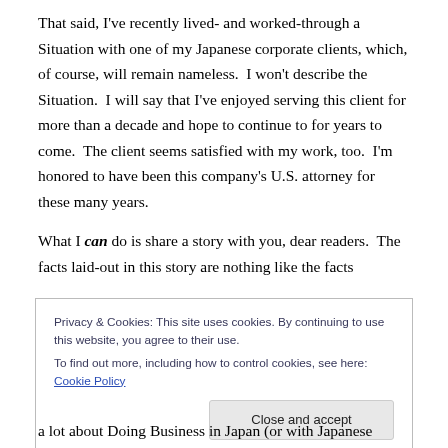That said, I've recently lived- and worked-through a Situation with one of my Japanese corporate clients, which, of course, will remain nameless.  I won't describe the Situation.  I will say that I've enjoyed serving this client for more than a decade and hope to continue to for years to come.  The client seems satisfied with my work, too.  I'm honored to have been this company's U.S. attorney for these many years.
What I can do is share a story with you, dear readers.  The facts laid-out in this story are nothing like the facts
Privacy & Cookies: This site uses cookies. By continuing to use this website, you agree to their use.
To find out more, including how to control cookies, see here: Cookie Policy
a lot about Doing Business in Japan (or with Japanese